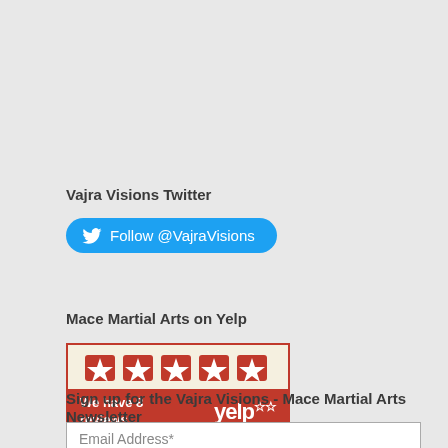Vajra Visions Twitter
[Figure (other): Twitter Follow button: Follow @VajraVisions]
Mace Martial Arts on Yelp
[Figure (other): Yelp badge showing 5 red stars and text 'We have 8 reviews' with Yelp logo]
Sign up for the Vajra Visions - Mace Martial Arts Newsletter
Email Address*